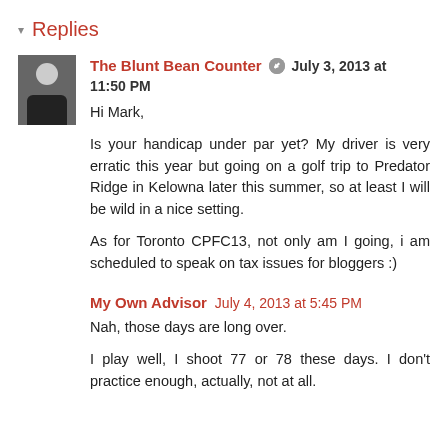▾ Replies
The Blunt Bean Counter [icon] July 3, 2013 at 11:50 PM

Hi Mark,

Is your handicap under par yet? My driver is very erratic this year but going on a golf trip to Predator Ridge in Kelowna later this summer, so at least I will be wild in a nice setting.

As for Toronto CPFC13, not only am I going, i am scheduled to speak on tax issues for bloggers :)
My Own Advisor July 4, 2013 at 5:45 PM

Nah, those days are long over.

I play well, I shoot 77 or 78 these days. I don't practice enough, actually, not at all.